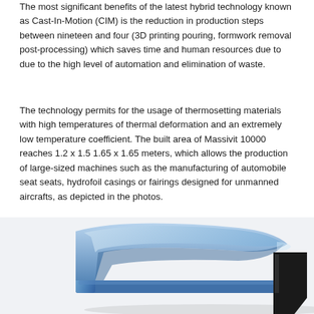The most significant benefits of the latest hybrid technology known as Cast-In-Motion (CIM) is the reduction in production steps between nineteen and four (3D printing pouring, formwork removal post-processing) which saves time and human resources due to due to the high level of automation and elimination of waste.
The technology permits for the usage of thermosetting materials with high temperatures of thermal deformation and an extremely low temperature coefficient. The built area of Massivit 10000 reaches 1.2 x 1.5 1.65 x 1.65 meters, which allows the production of large-sized machines such as the manufacturing of automobile seat seats, hydrofoil casings or fairings designed for unmanned aircrafts, as depicted in the photos.
[Figure (photo): Photo of a blue translucent curved 3D-printed large part (hydrofoil casing or fairing) with a dark piece visible on the right side, against a white background.]